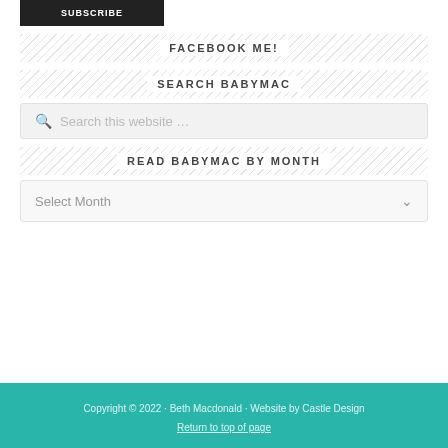[Figure (screenshot): Subscribe button (dark background, white text)]
FACEBOOK ME!
SEARCH BABYMAC
Search this website …
READ BABYMAC BY MONTH
Select Month
Copyright © 2022 · Beth Macdonald · Website by Castle Design
Return to top of page